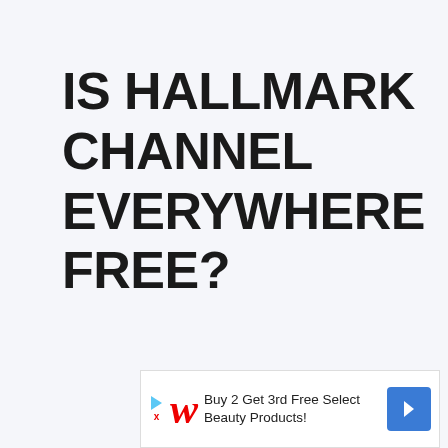IS HALLMARK CHANNEL EVERYWHERE FREE?
[Figure (other): Advertisement banner for Walgreens: 'Buy 2 Get 3rd Free Select Beauty Products!']